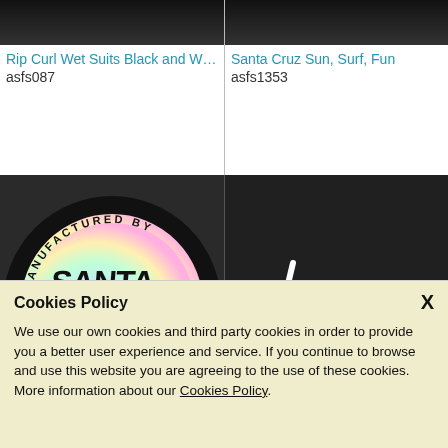[Figure (screenshot): Top strip of dark image (Rip Curl Wet Suits) partially shown]
Rip Curl Wet Suits Black and Whi...
asfs087
[Figure (screenshot): Top strip of dark image (Santa Cruz Sun, Surf, Fun) partially shown]
Santa Cruz Sun, Surf, Fun
asfs1353
[Figure (illustration): Santa Cruz Skateboards holographic sticker on dark background - circular sticker reading MANUFACTURED BY THE ORIGINAL SANTA CRUZ SKATEBOARDS with rainbow gradient]
[Figure (logo): ...lost brand logo in black and white graffiti style on dark textured background]
Cookies Policy

We use our own cookies and third party cookies in order to provide you a better user experience and service. If you continue to browse and use this website you are agreeing to the use of these cookies. More information about our Cookies Policy.